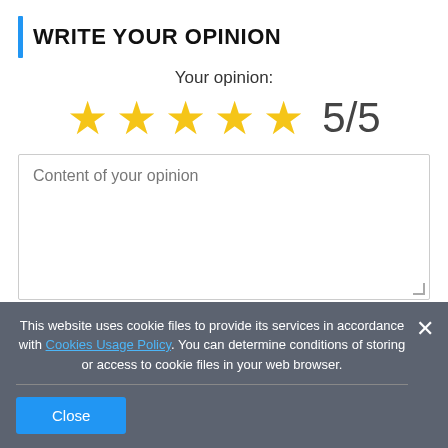WRITE YOUR OPINION
Your opinion:
[Figure (infographic): 5 yellow stars rating display showing 5/5 score]
Content of your opinion
Add your own product photo:
This website uses cookie files to provide its services in accordance with Cookies Usage Policy. You can determine conditions of storing or access to cookie files in your web browser.
Close